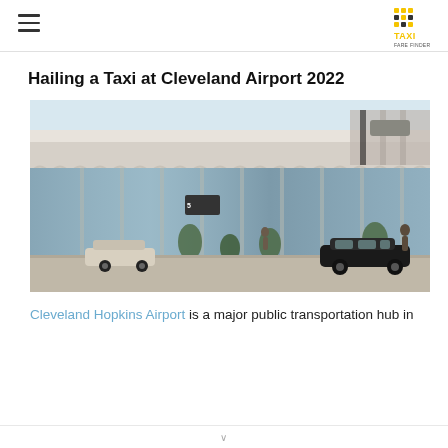Taxi Fare Finder — navigation header with hamburger menu and logo
Hailing a Taxi at Cleveland Airport 2022
[Figure (photo): Exterior view of Cleveland Hopkins Airport terminal with a large covered canopy, glass facade, parked cars and taxis at the curb]
Cleveland Hopkins Airport is a major public transportation hub in